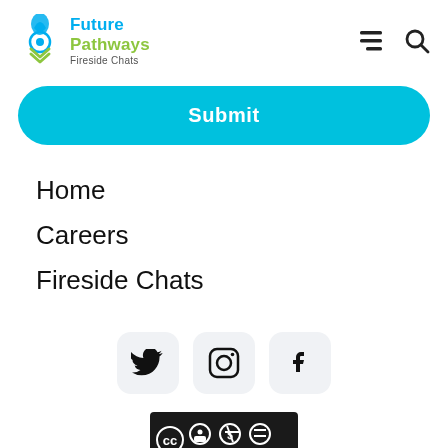Future Pathways Fireside Chats
Submit
Home
Careers
Fireside Chats
[Figure (logo): Social media icons: Twitter, Instagram, Facebook]
[Figure (logo): Creative Commons BY NC ND license badge]